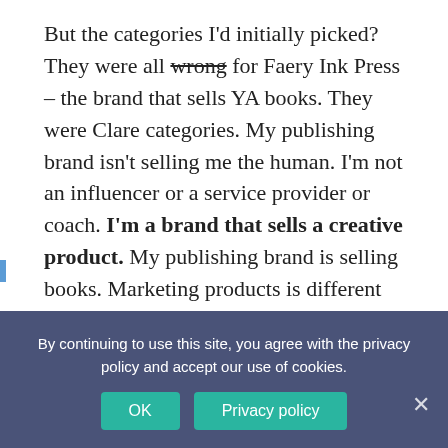But the categories I'd initially picked? They were all wrong for Faery Ink Press – the brand that sells YA books. They were Clare categories. My publishing brand isn't selling me the human. I'm not an influencer or a service provider or coach. I'm a brand that sells a creative product. My publishing brand is selling books. Marketing products is different than marketing yourself as a service provider.

Now, this seems like a Very Obvious Realization. But when you're in the middle of your own creative muck
By continuing to use this site, you agree with the privacy policy and accept our use of cookies.